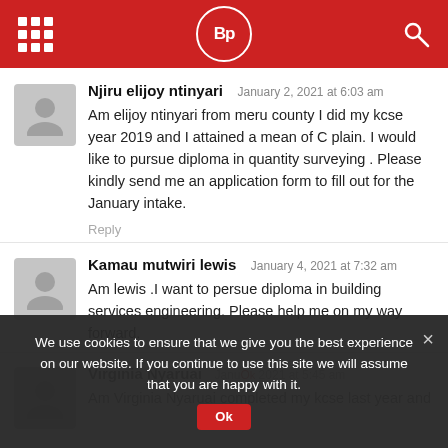BP [logo header with grid icon and search icon]
Njiru elijoy ntinyari  January 2, 2021 at 6:03 am
Am elijoy ntinyari from meru county I did my kcse year 2019 and I attained a mean of C plain. I would like to pursue diploma in quantity surveying . Please kindly send me an application form to fill out for the January intake.
Reply
Kamau mutwiri lewis  January 4, 2021 at 7:32 am
Am lewis .I want to persue diploma in building services engineering. Please help me on my way forward.
Virginia Nyaruai  January 7, 2021 at 5:45 am
Am Virginia Nyaruai completed my kcse last year and
We use cookies to ensure that we give you the best experience on our website. If you continue to use this site we will assume that you are happy with it.
Ok